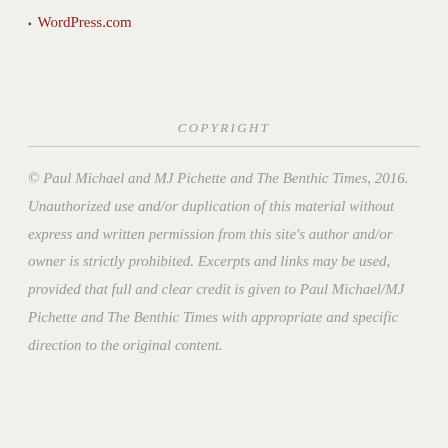WordPress.com
COPYRIGHT
© Paul Michael and MJ Pichette and The Benthic Times, 2016. Unauthorized use and/or duplication of this material without express and written permission from this site's author and/or owner is strictly prohibited. Excerpts and links may be used, provided that full and clear credit is given to Paul Michael/MJ Pichette and The Benthic Times with appropriate and specific direction to the original content.